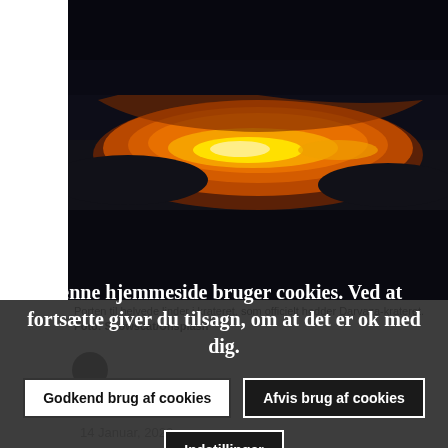[Figure (photo): Aerial nighttime photo of the Darvaza crater (Gate to Hell) in Turkmenistan, glowing bright orange with fire against dark desert ground]
Porten til helvede linder i krateret, som officielt hedder Darvaza-krateret. Foto: Snowscat/Unsplash
Denne hjemmeside bruger cookies. Ved at fortsætte giver du tilsagn, om at det er ok med dig.
Godkend brug af cookies | Afvis brug af cookies | Indstillinger
14 Januar, 2022